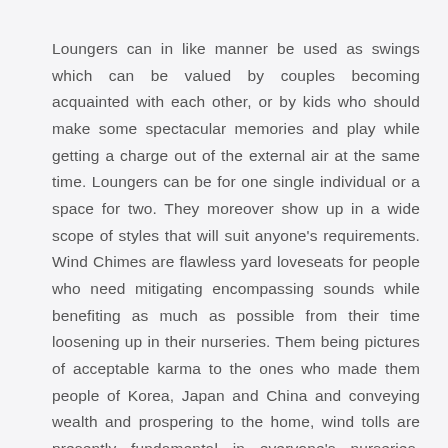Loungers can in like manner be used as swings which can be valued by couples becoming acquainted with each other, or by kids who should make some spectacular memories and play while getting a charge out of the external air at the same time. Loungers can be for one single individual or a space for two. They moreover show up in a wide scope of styles that will suit anyone's requirements. Wind Chimes are flawless yard loveseats for people who need mitigating encompassing sounds while benefiting as much as possible from their time loosening up in their nurseries. Them being pictures of acceptable karma to the ones who made them people of Korea, Japan and China and conveying wealth and prospering to the home, wind tolls are presently fundamental in everyone's nurseries, yards, and patios. Also, they help people with watching changes in wind conditions as it produces sound whenever and any spot the breeze blows.